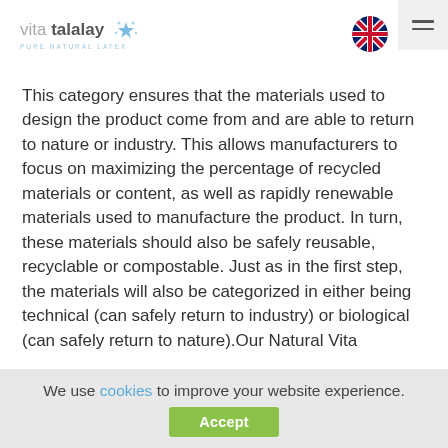vita talalay PURE NATURAL LATEX
This category ensures that the materials used to design the product come from and are able to return to nature or industry. This allows manufacturers to focus on maximizing the percentage of recycled materials or content, as well as rapidly renewable materials used to manufacture the product. In turn, these materials should also be safely reusable, recyclable or compostable. Just as in the first step, the materials will also be categorized in either being technical (can safely return to industry) or biological (can safely return to nature).Our Natural Vita
We use cookies to improve your website experience. Accept